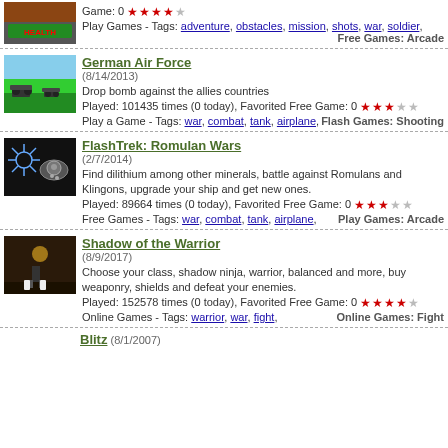Game: 0 [stars] Play Games - Tags: adventure, obstacles, mission, shots, war, soldier, Free Games: Arcade
German Air Force (8/14/2013) Drop bomb against the allies countries Played: 101435 times (0 today), Favorited Free Game: 0 [3 stars] Play a Game - Tags: war, combat, tank, airplane, Flash Games: Shooting
[Figure (screenshot): German Air Force game thumbnail showing tanks on green field]
FlashTrek: Romulan Wars (2/7/2014) Find dilithium among other minerals, battle against Romulans and Klingons, upgrade your ship and get new ones. Played: 89664 times (0 today), Favorited Free Game: 0 [3 stars] Free Games - Tags: war, combat, tank, airplane, Play Games: Arcade
[Figure (screenshot): FlashTrek Romulan Wars game thumbnail showing snowflake and robot icons on dark background]
Shadow of the Warrior (8/9/2017) Choose your class, shadow ninja, warrior, balanced and more, buy weaponry, shields and defeat your enemies. Played: 152578 times (0 today), Favorited Free Game: 0 [4 stars] Online Games - Tags: warrior, war, fight, Online Games: Fight
[Figure (screenshot): Shadow of the Warrior game thumbnail showing dark scene with warrior figure]
Blitz (8/1/2007)